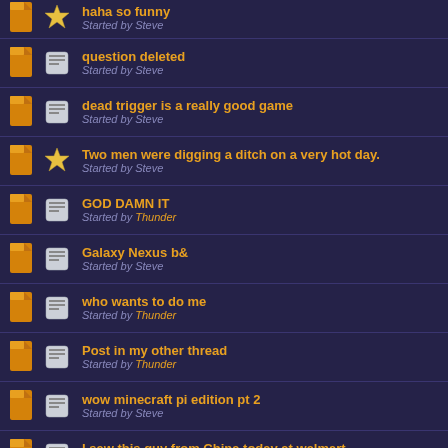haha so funny
Started by Steve
question deleted
Started by Steve
dead trigger is a really good game
Started by Steve
Two men were digging a ditch on a very hot day.
Started by Steve
GOD DAMN IT
Started by Thunder
Galaxy Nexus b&
Started by Steve
who wants to do me
Started by Thunder
Post in my other thread
Started by Thunder
wow minecraft pi edition pt 2
Started by Steve
I saw this guy from China today at walmart
Started by Steve
Raise Jemina's cool points
Started by Thunder